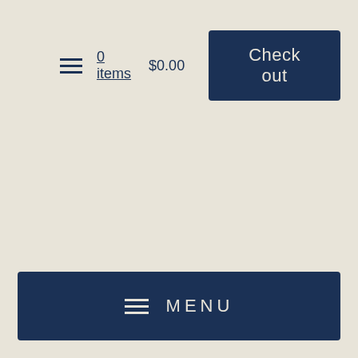0 items  $0.00  Check out
MENU